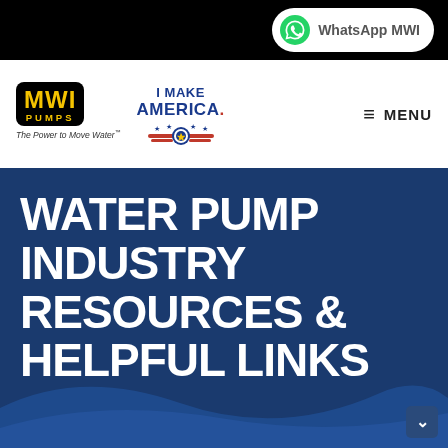[Figure (logo): WhatsApp MWI button in top black bar with WhatsApp icon and text]
[Figure (logo): MWI Pumps logo with tagline 'The Power to Move Water' and I Make America logo]
≡ MENU
WATER PUMP INDUSTRY RESOURCES & HELPFUL LINKS